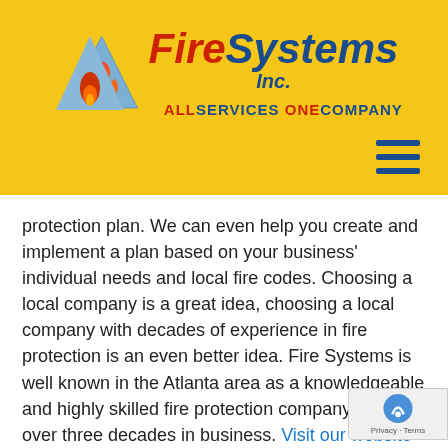[Figure (logo): Fire Systems Inc. logo with blue triangle, red flame, red 'Fire' and blue 'Systems Inc.' italic text, and tagline 'ALL SERVICES ONE COMPANY']
protection plan. We can even help you create and implement a plan based on your business' individual needs and local fire codes. Choosing a local company is a great idea, choosing a local company with decades of experience in fire protection is an even better idea. Fire Systems is well known in the Atlanta area as a knowledgeable and highly skilled fire protection company with over three decades in business. Visit our website for more information or call us at 770-333-7979.